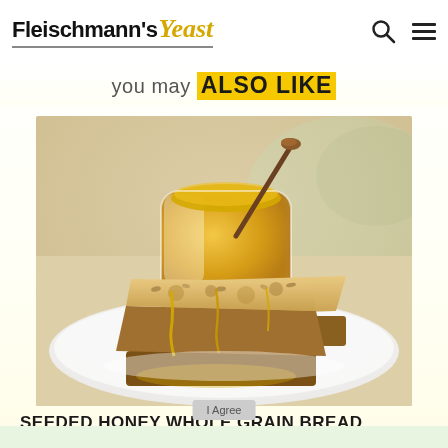Fleischmann's Yeast
you may ALSO LIKE
[Figure (photo): Two slices of seeded honey whole grain bread drizzled with honey on a white plate, with a glass honey pot and dipper in the background]
SEEDED HONEY WHOLE GRAIN BREAD
I Agree